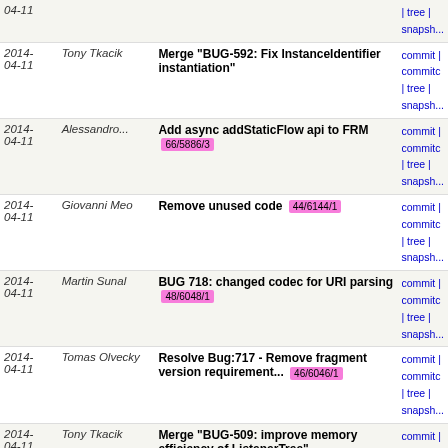| Date | Author | Message | Links |
| --- | --- | --- | --- |
| 2014-04-11 |  |  | | tree | snapsh... |
| 2014-04-11 | Tony Tkacik | Merge "BUG-592: Fix InstanceIdentifier instantiation" | commit | commitc | tree | snapsh... |
| 2014-04-11 | Alessandro... | Add async addStaticFlow api to FRM  66/5886/3 | commit | commitc | tree | snapsh... |
| 2014-04-11 | Giovanni Meo | Remove unused code  44/6144/1 | commit | commitc | tree | snapsh... |
| 2014-04-11 | Martin Sunal | BUG 718: changed codec for URI parsing  48/6048/1 | commit | commitc | tree | snapsh... |
| 2014-04-11 | Tomas Olvecky | Resolve Bug:717 - Remove fragment version requirement...  46/6046/1 | commit | commitc | tree | snapsh... |
| 2014-04-11 | Tony Tkacik | Merge "BUG-509: improve memory efficiency of ListenerTree" | commit | commitc | tree | snapsh... |
| 2014-04-11 | Tony Tkacik | Merge "BUG-509: Encapsulate ListenerTree" | commit | commitc | tree | snapsh... |
| 2014-04-11 | Robert Varga | BUG-592: Fix InstanceIdentifier instantiation  87/5987/3 | commit | commitc | tree | snapsh... |
| 2014-04-11 | Robert Varga | Bug 615: Removed xtend from Topology Manager  68/5968/5 | commit | commitc | tree | snapsh... |
| 2014-04-11 | Pramila Singh | readAllNodeTable() API in readServiceFilter.java querie... | commit | tree | |